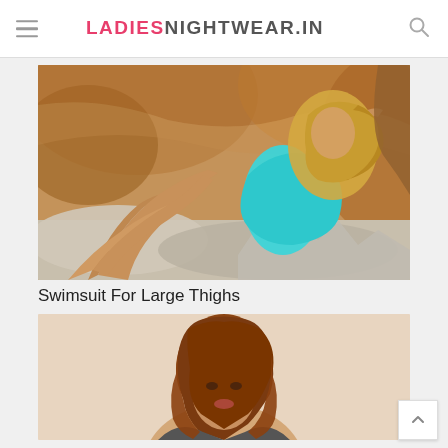LADIESNIGHTWEAR.IN
[Figure (photo): A woman in a turquoise swimsuit posing on rocks in a rocky cove setting]
Swimsuit For Large Thighs
[Figure (photo): A woman with auburn hair in a light/beige background, upper body visible]